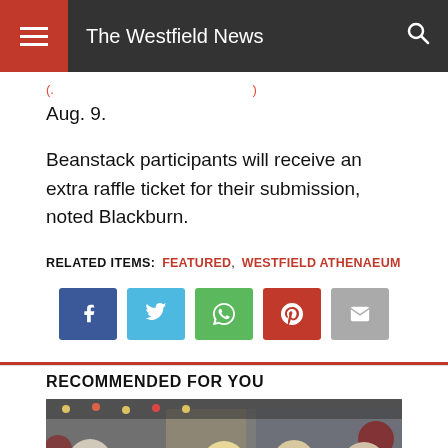The Westfield News
Aug. 9.
Beanstack participants will receive an extra raffle ticket for their submission, noted Blackburn.
RELATED ITEMS: FEATURED, WESTFIELD ATHENAEUM
[Figure (screenshot): Social media sharing buttons: Facebook, Twitter, WhatsApp, Pinterest, Email]
RECOMMENDED FOR YOU
[Figure (photo): Group of people wearing face masks indoors with holiday decorations in the background]